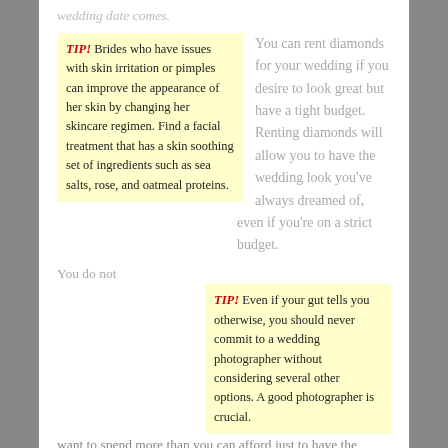wedding date comes.
TIP! Brides who have issues with skin irritation or pimples can improve the appearance of her skin by changing her skincare regimen. Find a facial treatment that has a skin soothing set of ingredients such as sea salts, rose, and oatmeal proteins.
You can rent diamonds for your wedding if you desire to look great but have a tight budget. Renting diamonds will allow you to have the wedding look you've always dreamed of, even if you're on a strict budget.
You do not want to spend more than you can afford just to have the perfect wedding. Perfection is your dream, but going bankrupt is your nightmare. This article has lots of money saving tips for your wedding. Apply these when planning your wedding to save on costs.
TIP! Even if your gut tells you otherwise, you should never commit to a wedding photographer without considering several other options. A good photographer is crucial.